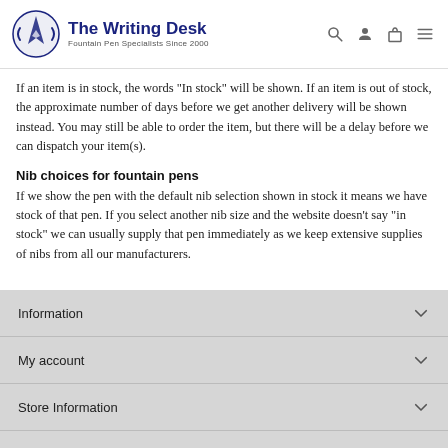The Writing Desk — Fountain Pen Specialists Since 2000
If an item is in stock, the words "In stock" will be shown. If an item is out of stock, the approximate number of days before we get another delivery will be shown instead. You may still be able to order the item, but there will be a delay before we can dispatch your item(s).
Nib choices for fountain pens
If we show the pen with the default nib selection shown in stock it means we have stock of that pen. If you select another nib size and the website doesn't say "in stock" we can usually supply that pen immediately as we keep extensive supplies of nibs from all our manufacturers.
Information
My account
Store Information